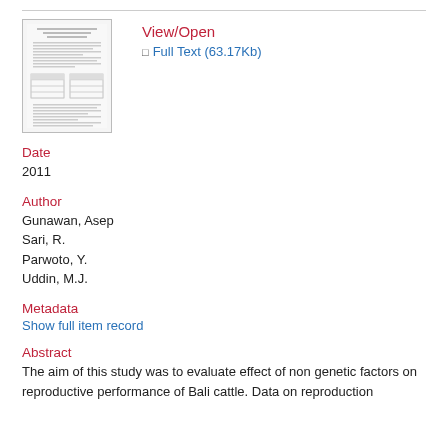[Figure (thumbnail): Thumbnail preview of the document page showing text columns and tables]
View/Open
⊡ Full Text (63.17Kb)
Date
2011
Author
Gunawan, Asep
Sari, R.
Parwoto, Y.
Uddin, M.J.
Metadata
Show full item record
Abstract
The aim of this study was to evaluate effect of non genetic factors on reproductive performance of Bali cattle. Data on reproduction